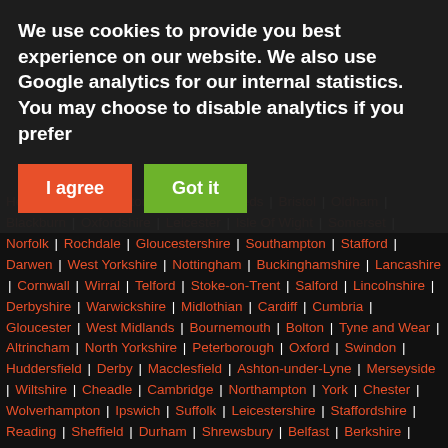We use cookies to provide you best experience on our website. We also use Google analytics for our internal statistics. You may choose to disable analytics if you prefer
I agree | Got it
Hertfordshire | Brighton | Leyland | Leeds | Bristol | Oldham | Blackburn | Oxfordshire | Leicester | Isle Of Wight | Somerset | Norfolk | Rochdale | Gloucestershire | Southampton | Stafford | Darwen | West Yorkshire | Nottingham | Buckinghamshire | Lancashire | Cornwall | Wirral | Telford | Stoke-on-Trent | Salford | Lincolnshire | Derbyshire | Warwickshire | Midlothian | Cardiff | Cumbria | Gloucester | West Midlands | Bournemouth | Bolton | Tyne and Wear | Altrincham | North Yorkshire | Peterborough | Oxford | Swindon | Huddersfield | Derby | Macclesfield | Ashton-under-Lyne | Merseyside | Wiltshire | Cheadle | Cambridge | Northampton | York | Chester | Wolverhampton | Ipswich | Suffolk | Leicestershire | Staffordshire | Reading | Sheffield | Durham | Shrewsbury | Belfast | Berkshire | County Durham | Bradford | Ellesmere Port | Widnes | Loughborough | Wigan | Wrexham | Northumberland | Salisbury | Bedfordshire | East Yorkshire | Burnley | Northamptonshire | Suffolk | Runcorn | Poole | Shropshire | Isle of Man | West Lothian | Milton keynes | County Down | Gwent | Frodsham | Burton-on-Trent | Dorchester | Worcestershire | Herefordshire | Newbury | Sunderland | Exeter | Worcester | Scottish Borders | Renfrewshire | Wilmslow | Hastings | Greenford | Lanarkshire | Crewe | Newport